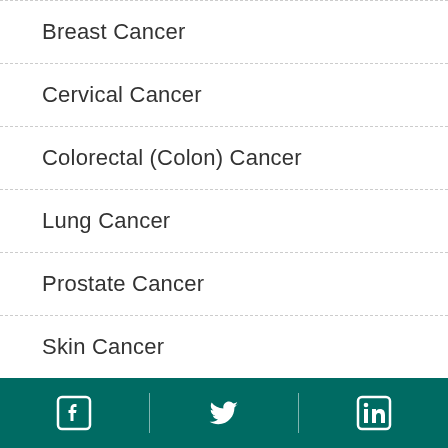Breast Cancer
Cervical Cancer
Colorectal (Colon) Cancer
Lung Cancer
Prostate Cancer
Skin Cancer
Survivor Stories
Other Topics
Facebook | Twitter | LinkedIn